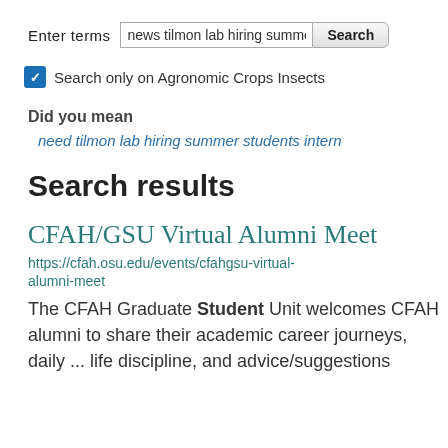Enter terms [search box: news tilmon lab hiring summe] [Search button]
☑ Search only on Agronomic Crops Insects
Did you mean
need tilmon lab hiring summer students intern
Search results
CFAH/GSU Virtual Alumni Meet
https://cfah.osu.edu/events/cfahgsu-virtual-alumni-meet
The CFAH Graduate Student Unit welcomes CFAH alumni to share their academic career journeys, daily ... life discipline, and advice/suggestions